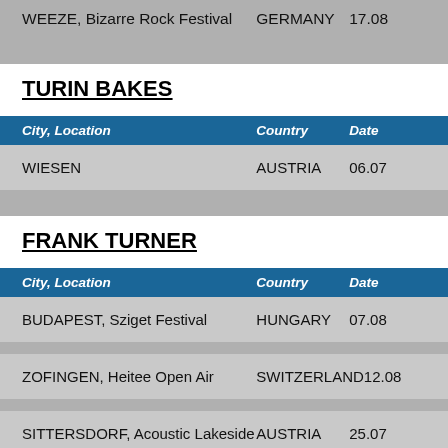| City, Location | Country | Date |
| --- | --- | --- |
| WEEZE, Bizarre Rock Festival | GERMANY | 17.08 |
TURIN BAKES
| City, Location | Country | Date |
| --- | --- | --- |
| WIESEN | AUSTRIA | 06.07 |
FRANK TURNER
| City, Location | Country | Date |
| --- | --- | --- |
| BUDAPEST, Sziget Festival | HUNGARY | 07.08 |
| ZOFINGEN, Heitee Open Air | SWITZERLAND | 12.08 |
| SITTERSDORF, Acoustic Lakeside | AUSTRIA | 25.07 |
| READING, Reading Festival | ENGLAND | 28.08 |
| VIENNA, B72 | AUSTRIA | 19.08 |